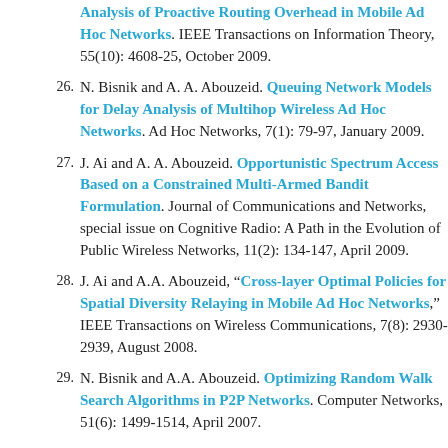Analysis of Proactive Routing Overhead in Mobile Ad Hoc Networks. IEEE Transactions on Information Theory, 55(10): 4608-25, October 2009.
26. N. Bisnik and A. A. Abouzeid. Queuing Network Models for Delay Analysis of Multihop Wireless Ad Hoc Networks. Ad Hoc Networks, 7(1): 79-97, January 2009.
27. J. Ai and A. A. Abouzeid. Opportunistic Spectrum Access Based on a Constrained Multi-Armed Bandit Formulation. Journal of Communications and Networks, special issue on Cognitive Radio: A Path in the Evolution of Public Wireless Networks, 11(2): 134-147, April 2009.
28. J. Ai and A.A. Abouzeid, "Cross-layer Optimal Policies for Spatial Diversity Relaying in Mobile Ad Hoc Networks," IEEE Transactions on Wireless Communications, 7(8): 2930-2939, August 2008.
29. N. Bisnik and A.A. Abouzeid. Optimizing Random Walk Search Algorithms in P2P Networks. Computer Networks, 51(6): 1499-1514, April 2007.